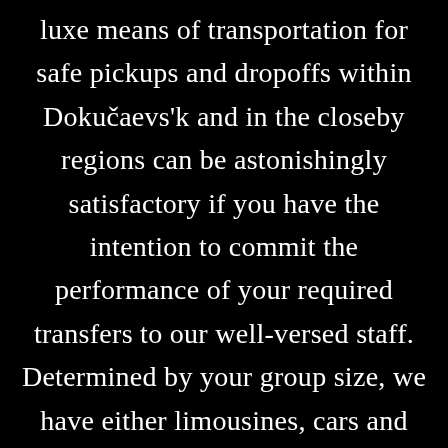luxe means of transportation for safe pickups and dropoffs within Dokučaevs'k and in the closeby regions can be astonishingly satisfactory if you have the intention to commit the performance of your required transfers to our well-versed staff. Determined by your group size, we have either limousines, cars and sedans, or minibuses, minivans and microbuses, or well-maintained